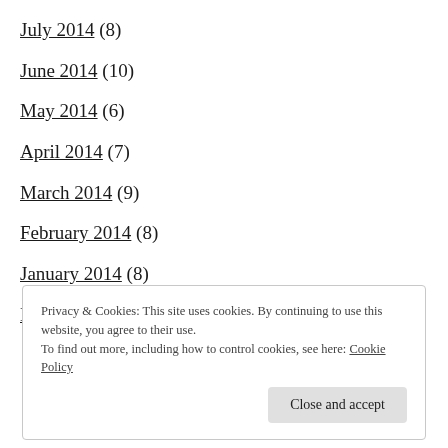July 2014 (8)
June 2014 (10)
May 2014 (6)
April 2014 (7)
March 2014 (9)
February 2014 (8)
January 2014 (8)
December 2013 (8)
Privacy & Cookies: This site uses cookies. By continuing to use this website, you agree to their use.
To find out more, including how to control cookies, see here: Cookie Policy
Close and accept